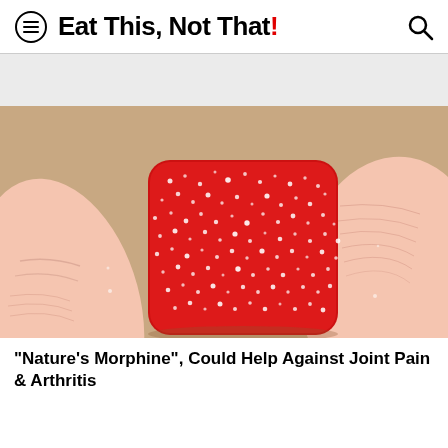Eat This, Not That!
[Figure (photo): Close-up photo of a red sugar-coated gummy candy square being held between two fingers against a warm beige/brown background.]
"Nature's Morphine", Could Help Against Joint Pain & Arthritis